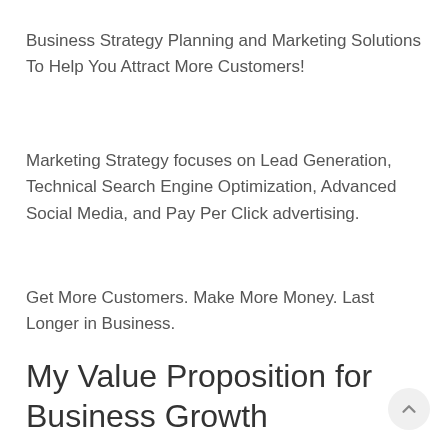Business Strategy Planning and Marketing Solutions To Help You Attract More Customers!
Marketing Strategy focuses on Lead Generation, Technical Search Engine Optimization, Advanced Social Media, and Pay Per Click advertising.
Get More Customers. Make More Money. Last Longer in Business.
My Value Proposition for Business Growth